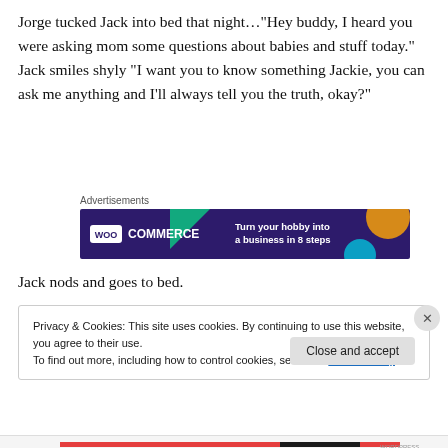Jorge tucked Jack into bed that night…"Hey buddy, I heard you were asking mom some questions about babies and stuff today." Jack smiles shyly “I want you to know something Jackie, you can ask me anything and I’ll always tell you the truth, okay?”
[Figure (other): WooCommerce advertisement banner: dark purple background with teal and orange geometric shapes. Text reads 'WOO COMMERCE — Turn your hobby into a business in 8 steps']
Jack nods and goes to bed.
Privacy & Cookies: This site uses cookies. By continuing to use this website, you agree to their use.
To find out more, including how to control cookies, see here: Cookie Policy